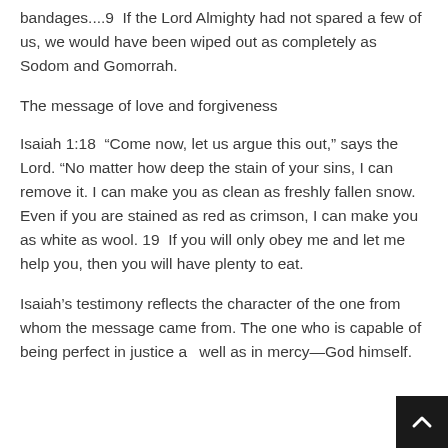bandages....9  If the Lord Almighty had not spared a few of us, we would have been wiped out as completely as Sodom and Gomorrah.
The message of love and forgiveness
Isaiah 1:18  “Come now, let us argue this out,” says the Lord. “No matter how deep the stain of your sins, I can remove it. I can make you as clean as freshly fallen snow. Even if you are stained as red as crimson, I can make you as white as wool. 19  If you will only obey me and let me help you, then you will have plenty to eat.
Isaiah’s testimony reflects the character of the one from whom the message came from. The one who is capable of being perfect in justice as well as in mercy—God himself.